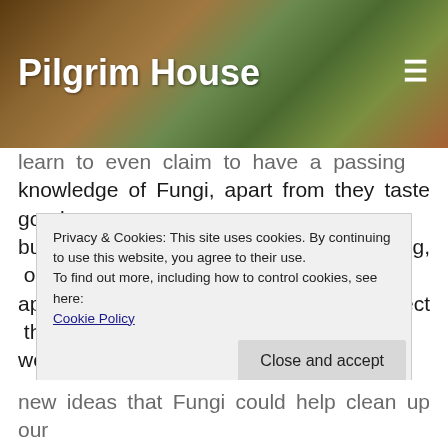Pilgrim House
learn to even claim to have a passing knowledge of Fungi, apart from they taste good, but I now have a better understanding, or appreciation, as to how much they affect the world around them.
The Secret Life of Fungi explores the world of the Fungi and how we, in many ways drastically underestimate this organism that pervades our
Privacy & Cookies: This site uses cookies. By continuing to use this website, you agree to their use.
To find out more, including how to control cookies, see here:
Cookie Policy
Close and accept
new ideas that Fungi could help clean up our